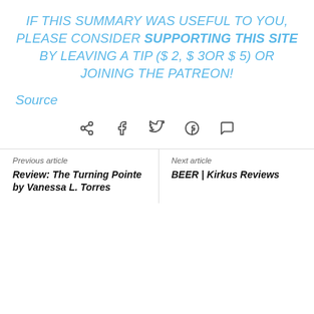IF THIS SUMMARY WAS USEFUL TO YOU, PLEASE CONSIDER SUPPORTING THIS SITE BY LEAVING A TIP ($ 2, $ 3OR $ 5) OR JOINING THE PATREON!
Source
[Figure (other): Social share icons: share, facebook, twitter, pinterest, whatsapp]
Previous article
Review: The Turning Pointe by Vanessa L. Torres
Next article
BEER | Kirkus Reviews